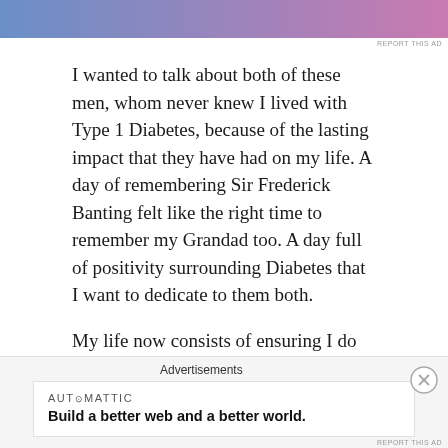[Figure (other): Top advertisement banner with blue to pink gradient]
I wanted to talk about both of these men, whom never knew I lived with Type 1 Diabetes, because of the lasting impact that they have had on my life. A day of remembering Sir Frederick Banting felt like the right time to remember my Grandad too. A day full of positivity surrounding Diabetes that I want to dedicate to them both.
My life now consists of ensuring I do them both proud by ensuring I live a life full of positive experiences, whilst sharing the journey and helping others with the condition fulfil their potential in sport. If I can do that I'll be a happy guy and I think
Advertisements
[Figure (other): Automattic advertisement: Build a better web and a better world.]